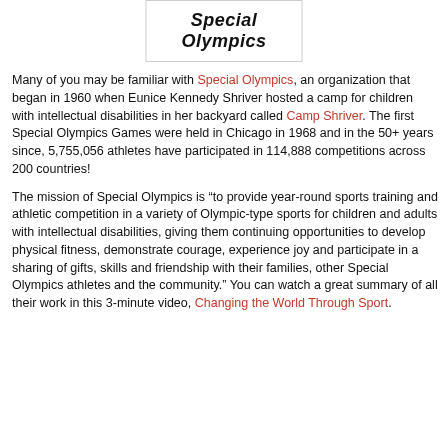[Figure (logo): Special Olympics logo with bold italic text reading 'Special Olympics']
Many of you may be familiar with Special Olympics, an organization that began in 1960 when Eunice Kennedy Shriver hosted a camp for children with intellectual disabilities in her backyard called Camp Shriver. The first Special Olympics Games were held in Chicago in 1968 and in the 50+ years since, 5,755,056 athletes have participated in 114,888 competitions across 200 countries!
The mission of Special Olympics is “to provide year-round sports training and athletic competition in a variety of Olympic-type sports for children and adults with intellectual disabilities, giving them continuing opportunities to develop physical fitness, demonstrate courage, experience joy and participate in a sharing of gifts, skills and friendship with their families, other Special Olympics athletes and the community.” You can watch a great summary of all their work in this 3-minute video, Changing the World Through Sport.